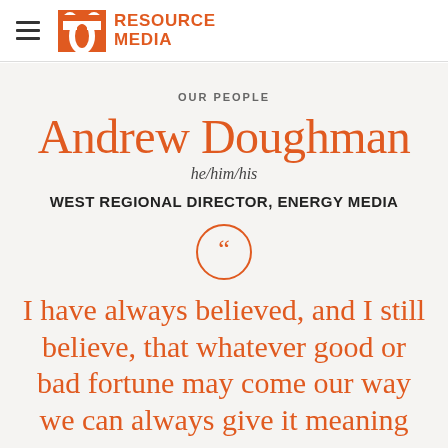[Figure (logo): Resource Media logo with orange M-arch icon and bold orange text reading RESOURCE MEDIA]
OUR PEOPLE
Andrew Doughman
he/him/his
WEST REGIONAL DIRECTOR, ENERGY MEDIA
I have always believed, and I still believe, that whatever good or bad fortune may come our way we can always give it meaning